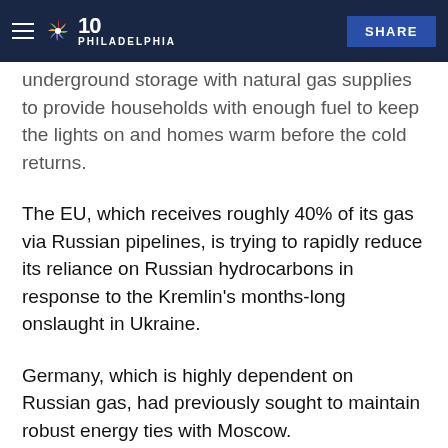NBC 10 Philadelphia | SHARE
underground storage with natural gas supplies to provide households with enough fuel to keep the lights on and homes warm before the cold returns.
The EU, which receives roughly 40% of its gas via Russian pipelines, is trying to rapidly reduce its reliance on Russian hydrocarbons in response to the Kremlin's months-long onslaught in Ukraine.
Germany, which is highly dependent on Russian gas, had previously sought to maintain robust energy ties with Moscow.
'Coal is on fire once again'
Germany declared the first phase of its emergency gas plan